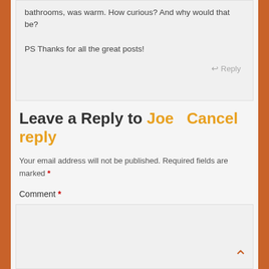bathrooms, was warm. How curious? And why would that be?

PS Thanks for all the great posts!
Reply
Leave a Reply to Joe   Cancel reply
Your email address will not be published. Required fields are marked *
Comment *